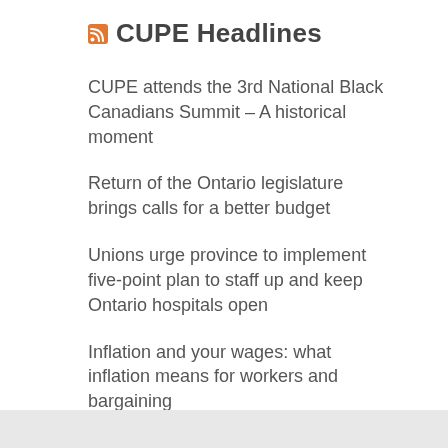CUPE Headlines
CUPE attends the 3rd National Black Canadians Summit – A historical moment
Return of the Ontario legislature brings calls for a better budget
Unions urge province to implement five-point plan to staff up and keep Ontario hospitals open
Inflation and your wages: what inflation means for workers and bargaining